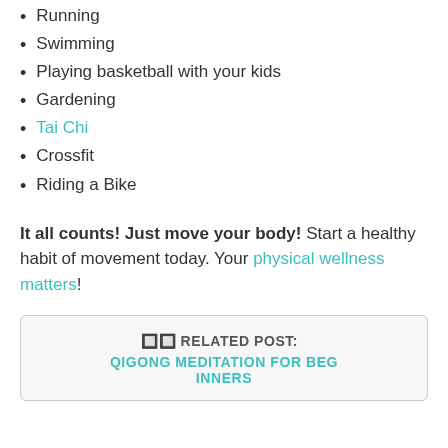Running
Swimming
Playing basketball with your kids
Gardening
Tai Chi
Crossfit
Riding a Bike
It all counts! Just move your body! Start a healthy habit of movement today. Your physical wellness matters!
🔲🔲 RELATED POST: QIGONG MEDITATION FOR BEGINNERS